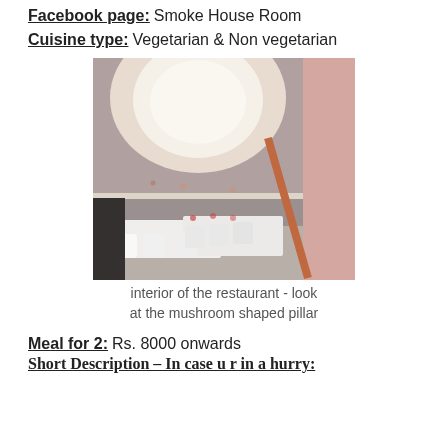Facebook page: Smoke House Room
Cuisine type: Vegetarian & Non vegetarian
[Figure (photo): Interior of a restaurant with a large mushroom-shaped round ceiling pillar with glowing light, white tables and chairs, and a pink/mauve pillar on the right side.]
interior of the restaurant - look at the mushroom shaped pillar
Meal for 2: Rs. 8000 onwards
Short Description – In case u r in a hurry: